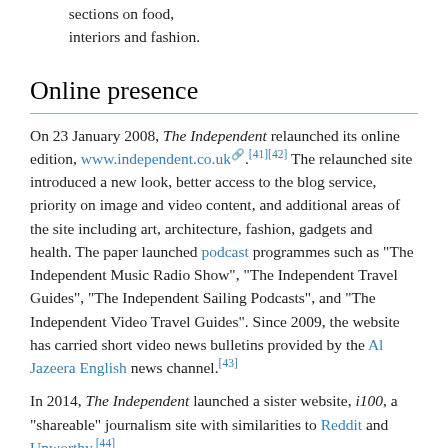sections on food, interiors and fashion.
Online presence
On 23 January 2008, The Independent relaunched its online edition, www.independent.co.uk.[41][42] The relaunched site introduced a new look, better access to the blog service, priority on image and video content, and additional areas of the site including art, architecture, fashion, gadgets and health. The paper launched podcast programmes such as "The Independent Music Radio Show", "The Independent Travel Guides", "The Independent Sailing Podcasts", and "The Independent Video Travel Guides". Since 2009, the website has carried short video news bulletins provided by the Al Jazeera English news channel.[43]
In 2014, The Independent launched a sister website, i100, a "shareable" journalism site with similarities to Reddit and Unworthy.[44]